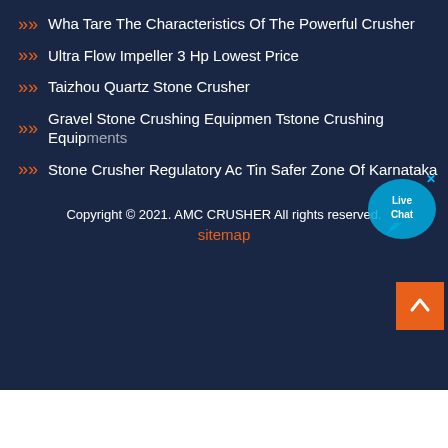Wha Tare The Characteristics Of The Powerful Crusher
Ultra Flow Impeller 3 Hp Lowest Price
Taizhou Quartz Stone Crusher
Gravel Stone Crushing Equipmen Tstone Crushing Equipments
Stone Crusher Regulatory Ac Tin Safer Zone Of Karnataka
Copyright © 2021. AMC CRUSHER All rights reserved.
sitemap